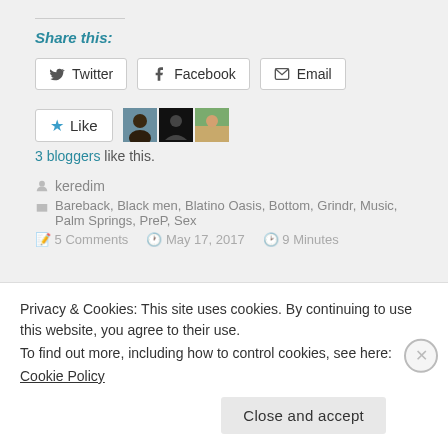Share this:
Twitter
Facebook
Email
[Figure (other): Like button with star icon and 3 blogger avatars]
3 bloggers like this.
keredim
Bareback, Black men, Blatino Oasis, Bottom, Grindr, Music, Palm Springs, PreP, Sex
5 Comments   May 17, 2017   9 Minutes
Privacy & Cookies: This site uses cookies. By continuing to use this website, you agree to their use.
To find out more, including how to control cookies, see here:
Cookie Policy
Close and accept